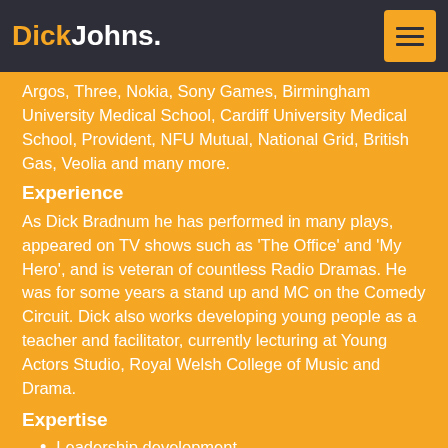DickJohns.
Argos, Three, Nokia, Sony Games, Birmingham University Medical School, Cardiff University Medical School, Provident, NFU Mutual, National Grid, British Gas, Veolia and many more.
Experience
As Dick Bradnum he has performed in many plays, appeared on TV shows such as 'The Office' and 'My Hero', and is veteran of countless Radio Dramas. He was for some years a stand up and MC on the Comedy Circuit. Dick also works developing young people as a teacher and facilitator, currently lecturing at Young Actors Studio, Royal Welsh College of Music and Drama.
Expertise
Leadership development
Design of Customer service programmes